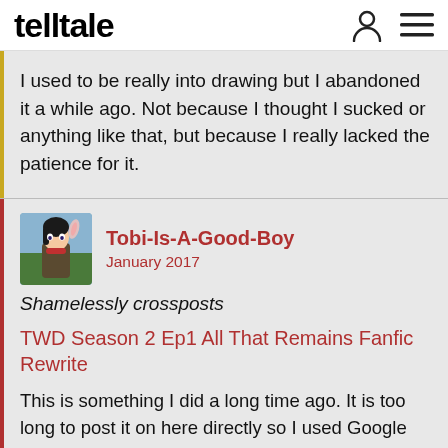telltale
I used to be really into drawing but I abandoned it a while ago. Not because I thought I sucked or anything like that, but because I really lacked the patience for it.
Tobi-Is-A-Good-Boy
January 2017
Shamelessly crossposts
TWD Season 2 Ep1 All That Remains Fanfic Rewrite
This is something I did a long time ago. It is too long to post it on here directly so I used Google Docs (second time actually doing it, first time was a failed upload months ago lol). I also dunno how to use coloured text here which was crucial for me so yeah.
It's a long one so uh... try not to be overwhelmed and take